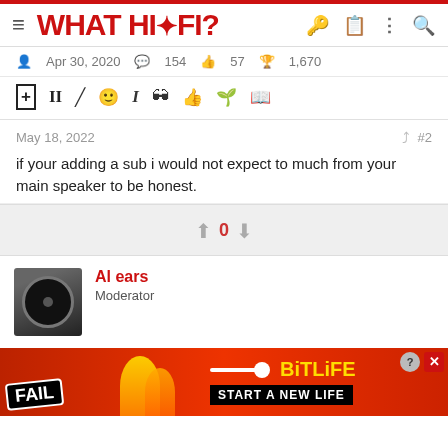WHAT HI·FI?
Apr 30, 2020  154  57  1,670
May 18, 2022  #2
if your adding a sub i would not expect to much from your main speaker to be honest.
0
Al ears
Moderator
[Figure (screenshot): BitLife advertisement banner: FAIL text, animated characters, BitLife logo, START A NEW LIFE tagline]